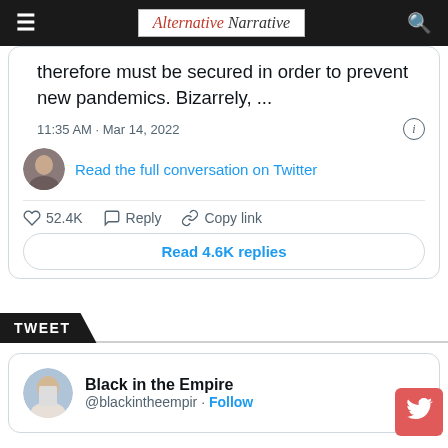Alternative Narrative
therefore must be secured in order to prevent new pandemics. Bizarrely, ...
11:35 AM · Mar 14, 2022
Read the full conversation on Twitter
52.4K  Reply  Copy link
Read 4.6K replies
TWEET
Black in the Empire
@blackintheempir · Follow